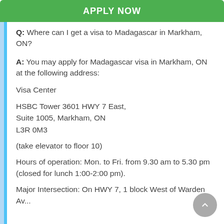APPLY NOW
Q: Where can I get a visa to Madagascar in Markham, ON?
A: You may apply for Madagascar visa in Markham, ON at the following address:
Visa Center
HSBC Tower 3601 HWY 7 East, Suite 1005, Markham, ON L3R 0M3
(take elevator to floor 10)
Hours of operation: Mon. to Fri. from 9.30 am to 5.30 pm (closed for lunch 1:00-2:00 pm).
Major Intersection: On HWY 7, 1 block West of Warden Av...